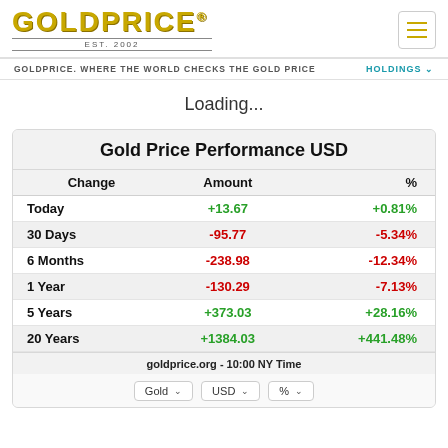[Figure (logo): GOLDPRICE logo with EST. 2002 subtitle]
GOLDPRICE. WHERE THE WORLD CHECKS THE GOLD PRICE
HOLDINGS
Loading...
| Change | Amount | % |
| --- | --- | --- |
| Today | +13.67 | +0.81% |
| 30 Days | -95.77 | -5.34% |
| 6 Months | -238.98 | -12.34% |
| 1 Year | -130.29 | -7.13% |
| 5 Years | +373.03 | +28.16% |
| 20 Years | +1384.03 | +441.48% |
goldprice.org - 10:00 NY Time